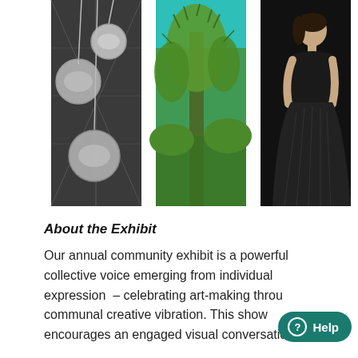[Figure (photo): Three side-by-side photos: left is black-and-white image of hanging globe lights from a ceiling; center is a vivid color photo of a Joshua tree with teal sky; right is a black-and-white photo of a woman in a black dress against a dark background.]
About the Exhibit
Our annual community exhibit is a powerful collective voice emerging from individual expression  – celebrating art-making through communal creative vibration. This show encourages an engaged visual conversation